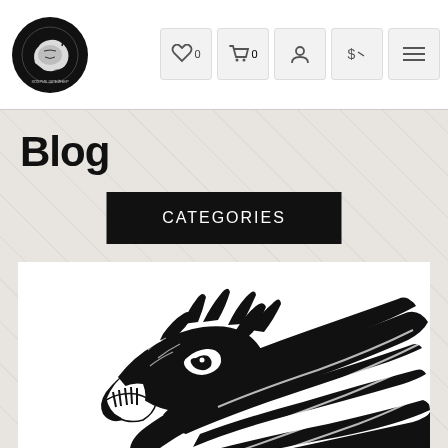ХОХРИК ШРЕЙНЕР — Blog — CATEGORIES
Blog
CATEGORIES
[Figure (illustration): Tribal black and white wolf head illustration with flowing lines]
22.11.2019